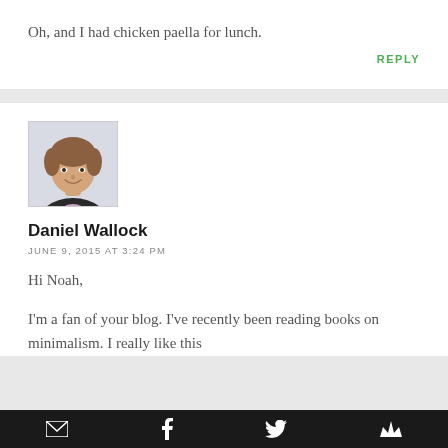Oh, and I had chicken paella for lunch.
REPLY
[Figure (photo): Headshot of Daniel Wallock, a young man in a dark jacket and pink/lavender shirt, smiling, with short brown hair, against a white background.]
Daniel Wallock
JUNE 9, 2015 AT 3:24 PM
Hi Noah,
I'm a fan of your blog. I've recently been reading books on minimalism. I really like this
email  facebook  twitter  crown/share